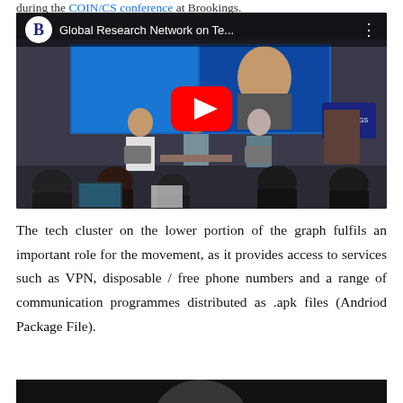during the COIN/CS conference at Brookings.
[Figure (screenshot): YouTube video thumbnail showing a Brookings Institution conference panel. Title reads 'Global Research Network on Te...' with a Brookings B logo circle. Three panelists on stage, audience in foreground, large screen behind showing a video call. Red YouTube play button centered.]
The tech cluster on the lower portion of the graph fulfils an important role for the movement, as it provides access to services such as VPN, disposable / free phone numbers and a range of communication programmes distributed as .apk files (Andriod Package File).
[Figure (screenshot): Partial bottom video thumbnail, dark/black background with partial circular shape visible.]